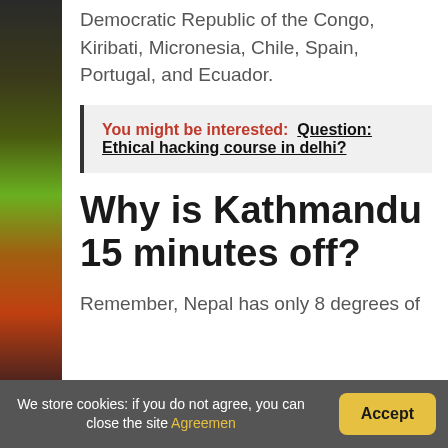Democratic Republic of the Congo, Kiribati, Micronesia, Chile, Spain, Portugal, and Ecuador.
You might be interested: Question: Ethical hacking course in delhi?
Why is Kathmandu 15 minutes off?
Remember, Nepal has only 8 degrees of
We store cookies: if you do not agree, you can close the site Agreemen  Accept